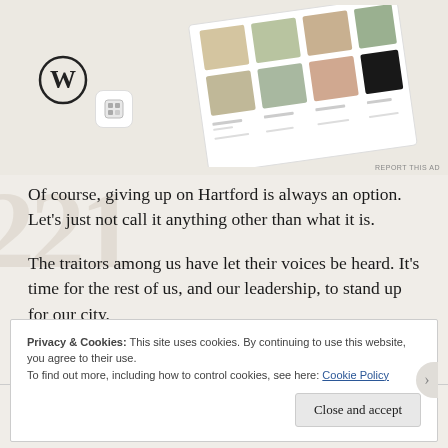[Figure (screenshot): Advertisement banner showing WordPress logo, an app icon, and food/recipe images arranged on a tilted tablet/magazine layout]
Of course, giving up on Hartford is always an option. Let's just not call it anything other than what it is.
The traitors among us have let their voices be heard. It's time for the rest of us, and our leadership, to stand up for our city.
Privacy & Cookies: This site uses cookies. By continuing to use this website, you agree to their use.
To find out more, including how to control cookies, see here: Cookie Policy